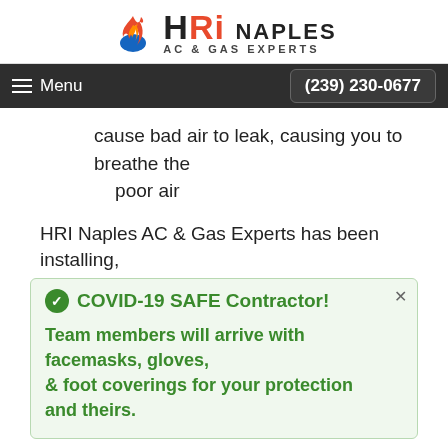[Figure (logo): HRI Naples AC & Gas Experts logo with flame icon]
Menu  (239) 230-0677
cause bad air to leak, causing you to breathe the poor air
HRI Naples AC & Gas Experts has been installing,
COVID-19 SAFE Contractor! Team members will arrive with facemasks, gloves, & foot coverings for your protection and theirs.
...Experts strives to offer competitive prices in the local area.
For ductwork installation or repair, call HRI Naples AC & Gas Experts at (239) 230-0677 for a quote.